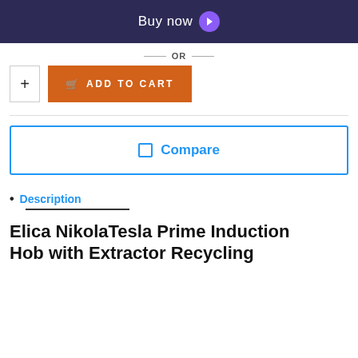[Figure (screenshot): Dark navy 'Buy now' button bar with purple arrow icon]
— OR —
[Figure (screenshot): Quantity plus box and orange 'ADD TO CART' button]
[Figure (screenshot): Blue-bordered 'Compare' button with checkbox icon]
Description
Elica NikolaTesla Prime Induction Hob with Extractor Recycling